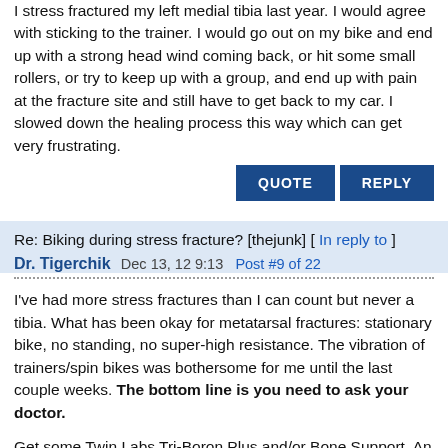I stress fractured my left medial tibia last year. I would agree with sticking to the trainer. I would go out on my bike and end up with a strong head wind coming back, or hit some small rollers, or try to keep up with a group, and end up with pain at the fracture site and still have to get back to my car. I slowed down the healing process this way which can get very frustrating.
QUOTE  REPLY
Re: Biking during stress fracture? [thejunk] [ In reply to ]
Dr. Tigerchik  Dec 13, 12 9:13  Post #9 of 22
I've had more stress fractures than I can count but never a tibia. What has been okay for metatarsal fractures: stationary bike, no standing, no super-high resistance. The vibration of trainers/spin bikes was bothersome for me until the last couple weeks. The bottom line is you need to ask your doctor.
Get some Twin Labs Tri-Boron Plus and/or Bone Support. An elite running friend told me he uses the Bone Support stuff when he is running lots and/or gets a fracture and he felt it